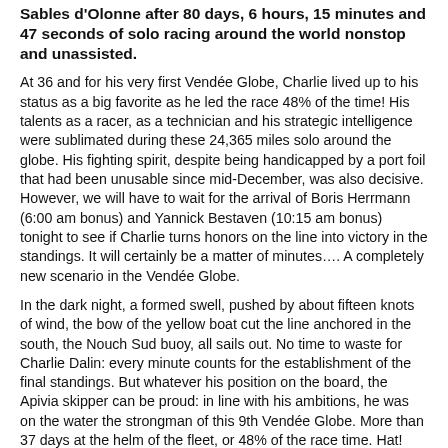Sables d'Olonne after 80 days, 6 hours, 15 minutes and 47 seconds of solo racing around the world nonstop and unassisted.
At 36 and for his very first Vendée Globe, Charlie lived up to his status as a big favorite as he led the race 48% of the time! His talents as a racer, as a technician and his strategic intelligence were sublimated during these 24,365 miles solo around the globe. His fighting spirit, despite being handicapped by a port foil that had been unusable since mid-December, was also decisive. However, we will have to wait for the arrival of Boris Herrmann (6:00 am bonus) and Yannick Bestaven (10:15 am bonus) tonight to see if Charlie turns honors on the line into victory in the standings. It will certainly be a matter of minutes…. A completely new scenario in the Vendée Globe.
In the dark night, a formed swell, pushed by about fifteen knots of wind, the bow of the yellow boat cut the line anchored in the south, the Nouch Sud buoy, all sails out. No time to waste for Charlie Dalin: every minute counts for the establishment of the final standings. But whatever his position on the board, the Apivia skipper can be proud: in line with his ambitions, he was on the water the strongman of this 9th Vendée Globe. More than 37 days at the helm of the fleet, or 48% of the race time. Hat!